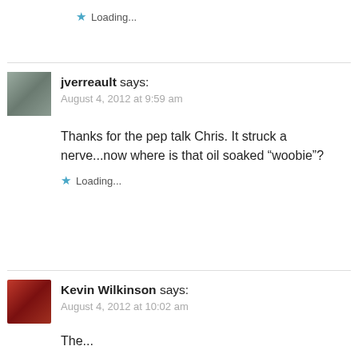Loading...
jverreault says:
August 4, 2012 at 9:59 am
Thanks for the pep talk Chris. It struck a nerve...now where is that oil soaked “woobie”?
Loading...
Kevin Wilkinson says:
August 4, 2012 at 10:02 am
The...